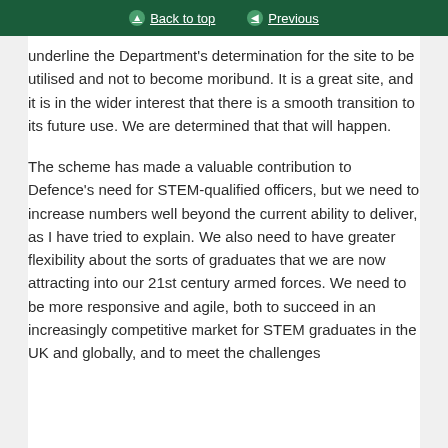Back to top | Previous
underline the Department's determination for the site to be utilised and not to become moribund. It is a great site, and it is in the wider interest that there is a smooth transition to its future use. We are determined that that will happen.
The scheme has made a valuable contribution to Defence's need for STEM-qualified officers, but we need to increase numbers well beyond the current ability to deliver, as I have tried to explain. We also need to have greater flexibility about the sorts of graduates that we are now attracting into our 21st century armed forces. We need to be more responsive and agile, both to succeed in an increasingly competitive market for STEM graduates in the UK and globally, and to meet the challenges